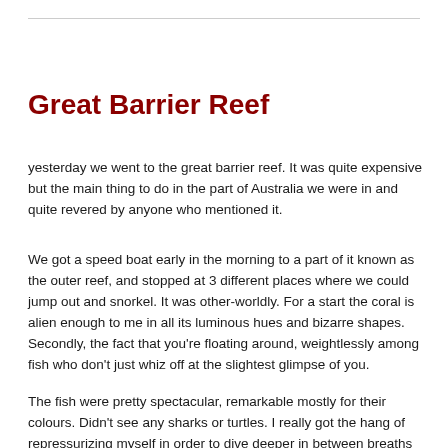Great Barrier Reef
yesterday we went to the great barrier reef. It was quite expensive but the main thing to do in the part of Australia we were in and quite revered by anyone who mentioned it.
We got a speed boat early in the morning to a part of it known as the outer reef, and stopped at 3 different places where we could jump out and snorkel. It was other-worldly. For a start the coral is alien enough to me in all its luminous hues and bizarre shapes. Secondly, the fact that you're floating around, weightlessly among fish who don't just whiz off at the slightest glimpse of you.
The fish were pretty spectacular, remarkable mostly for their colours. Didn't see any sharks or turtles. I really got the hang of repressurizing myself in order to dive deeper in between breaths so I could get a deep as 10m without my brain imploding through my ears. The fact that I could